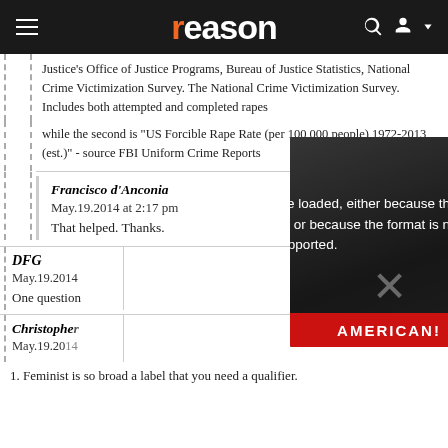reason
Justice's Office of Justice Programs, Bureau of Justice Statistics, National Crime Victimization Survey. The National Crime Victimization Survey. Includes both attempted and completed rapes
while the second is "US Forcible Rape Rate (per 100,000 people) 1972-2013 (est.)" - source FBI Uniform Crime Reports
Francisco d'Anconia
May.19.2014 at 2:17 pm

That helped. Thanks.
DFG
May.19.2014

One question
[Figure (screenshot): Video player overlay showing error message: The media could not be loaded, either because the server or network failed or because the format is not supported. An X close button and play button are visible. Behind the overlay is a protest image with a red AMERICAN! banner.]
Christopher
May.19.20
1. Feminist is so broad a label that you need a qualifier.